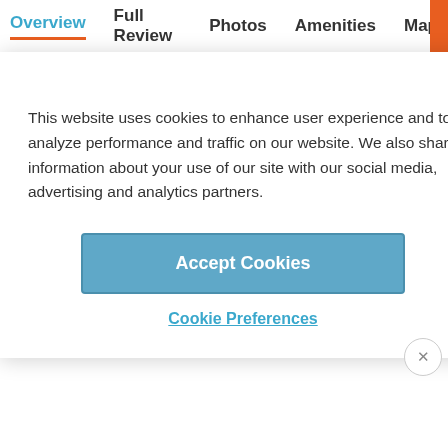Overview  Full Review  Photos  Amenities  Map
This website uses cookies to enhance user experience and to analyze performance and traffic on our website. We also share information about your use of our site with our social media, advertising and analytics partners.
Accept Cookies
Cookie Preferences
s
Proximity to Gare Saint-Lazare (the city's second busiest train station) and several metro stations makes the hotel's location convenient for travelers relying on public transport; however, many attractions are within easy walking distance -- especially those aimed at shoppers
ADVERTISEMENT